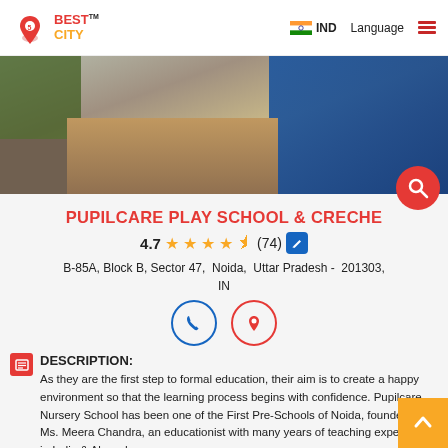5 Best City | IND | Language
[Figure (photo): Exterior photo of Pupilcare Play School & Creche building showing driveway and colorful entrance]
PUPILCARE PLAY SCHOOL & CRECHE
4.7 ★★★★½ (74)
B-85A, Block B, Sector 47, Noida, Uttar Pradesh - 201303, IN
[Figure (infographic): Phone icon and Location pin icon]
DESCRIPTION:
As they are the first step to formal education, their aim is to create a happy environment so that the learning process begins with confidence. Pupilcare Nursery School has been one of the First Pre-Schools of Noida, founded by Ms. Meera Chandra, an educationist with many years of teaching experience in India & Abroad